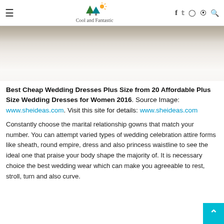Cool and Fantastic
[Figure (photo): Bottom portion of a white wedding dress on a light wood floor]
Best Cheap Wedding Dresses Plus Size from 20 Affordable Plus Size Wedding Dresses for Women 2016. Source Image: www.sheideas.com. Visit this site for details: www.sheideas.com
Constantly choose the marital relationship gowns that match your number. You can attempt varied types of wedding celebration attire forms like sheath, round empire, dress and also princess waistline to see the ideal one that praise your body shape the majority of. It is necessary choice the best wedding wear which can make you agreeable to rest, stroll, turn and also curve.